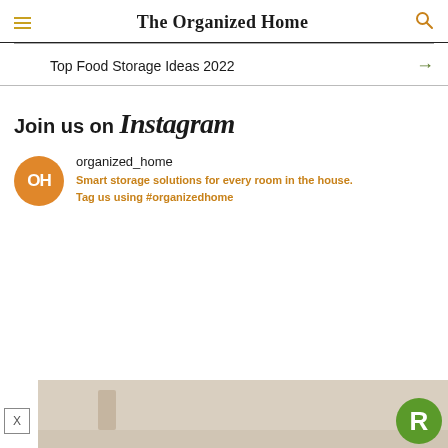The Organized Home
Top Food Storage Ideas 2022
Join us on Instagram
organized_home
Smart storage solutions for every room in the house. Tag us using #organizedhome
[Figure (photo): Bottom portion of a room interior photo, partially visible, with a green R badge and a close (X) button overlay]